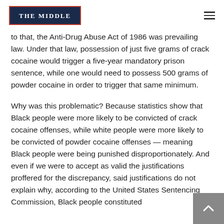THE MIDDLE
to that, the Anti-Drug Abuse Act of 1986 was prevailing law. Under that law, possession of just five grams of crack cocaine would trigger a five-year mandatory prison sentence, while one would need to possess 500 grams of powder cocaine in order to trigger that same minimum.
Why was this problematic? Because statistics show that Black people were more likely to be convicted of crack cocaine offenses, while white people were more likely to be convicted of powder cocaine offenses — meaning Black people were being punished disproportionately. And even if we were to accept as valid the justifications proffered for the discrepancy, said justifications do not explain why, according to the United States Sentencing Commission, Black people constituted